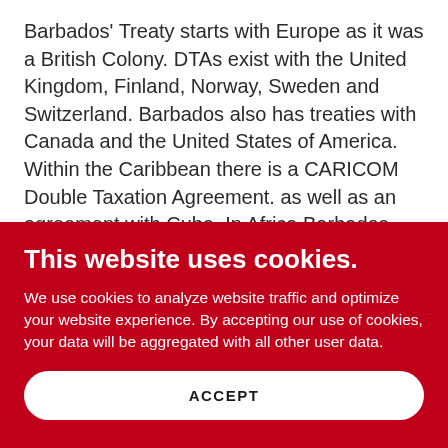Barbados' Treaty starts with Europe as it was a British Colony. DTAs exist with the United Kingdom, Finland, Norway, Sweden and Switzerland. Barbados also has treaties with Canada and the United States of America. Within the Caribbean there is a CARICOM Double Taxation Agreement. as well as an agreement with Cuba. In Africa Barbados has agreements with Rwanda and Botswana. Further
This website uses cookies.
We use cookies to analyze website traffic and optimize your website experience. By accepting our use of cookies, your data will be aggregated with all other user data.
ACCEPT